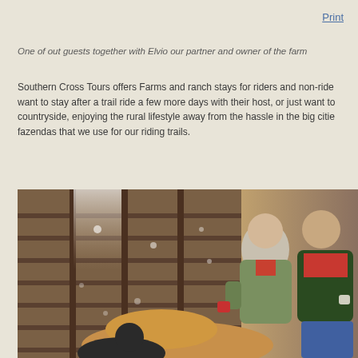Print
One of out guests together with Elvio our partner and owner of the farm
Southern Cross Tours offers Farms and ranch stays for riders and non-riders who want to stay after a trail ride a few more days with their host, or just want to explore the countryside, enjoying the rural lifestyle away from the hassle in the big cities. We use farms and fazendas that we use for our riding trails.
[Figure (photo): Two people standing inside a barn or farm building, holding mugs, with wooden slat walls behind them and a horse or cattle animal partially visible in the foreground.]